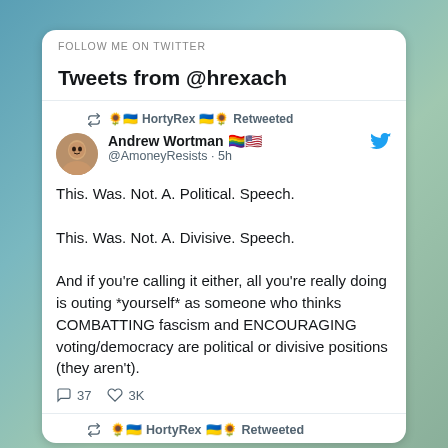FOLLOW ME ON TWITTER
Tweets from @hrexach
🌻🇺🇦 HortyRex 🇺🇦🌻 Retweeted
Andrew Wortman 🏳️‍🌈🇺🇸 @AmoneyResists · 5h
This. Was. Not. A. Political. Speech.

This. Was. Not. A. Divisive. Speech.

And if you're calling it either, all you're really doing is outing *yourself* as someone who thinks COMBATTING fascism and ENCOURAGING voting/democracy are political or divisive positions (they aren't).
37 replies, 3K likes
🌻🇺🇦 HortyRex 🇺🇦🌻 Retweeted